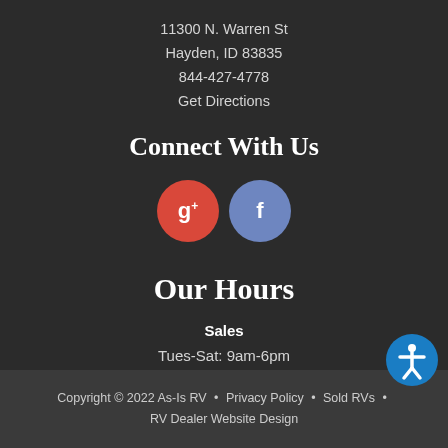11300 N. Warren St
Hayden, ID 83835
844-427-4778
Get Directions
Connect With Us
[Figure (illustration): Google+ and Facebook social media icons as colored circles]
Our Hours
Sales
Tues-Sat: 9am-6pm
Sun-Mon: Closed
Copyright © 2022 As-Is RV • Privacy Policy • Sold RVs • RV Dealer Website Design